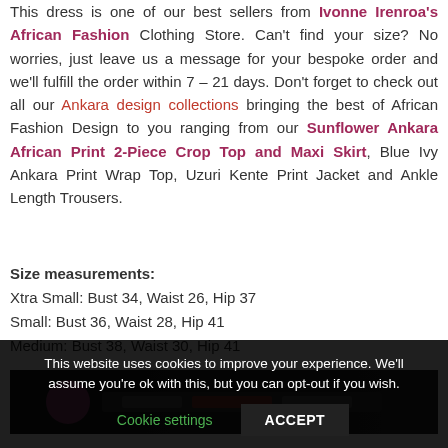This dress is one of our best sellers from Ivonne Irenroa's African Fashion Clothing Store. Can't find your size? No worries, just leave us a message for your bespoke order and we'll fulfill the order within 7 – 21 days. Don't forget to check out all our Ankara design collections bringing the best of African Fashion Design to you ranging from our Sunflower Ankara African Print 2-Piece Crop Top and Maxi Skirt, Blue Ivy Ankara Print Wrap Top, Uzuri Kente Print Jacket and Ankle Length Trousers.
Size measurements: Xtra Small: Bust 34, Waist 26, Hip 37 Small: Bust 36, Waist 28, Hip 41 Medium: Bust 38, Waist 30, Hip 41
[Figure (photo): Dark background photo with a person visible, partial view of a fashion-related image]
This website uses cookies to improve your experience. We'll assume you're ok with this, but you can opt-out if you wish. Cookie settings ACCEPT